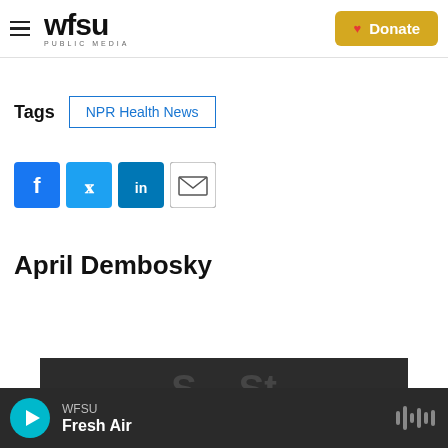WFSU PUBLIC MEDIA — Donate
Tags  NPR Health News
[Figure (other): Social sharing buttons: Facebook, Twitter, LinkedIn, Email]
April Dembosky
[Figure (photo): Partially visible dark image strip at bottom of page]
WFSU Fresh Air — audio player bar with play button and waveform icon